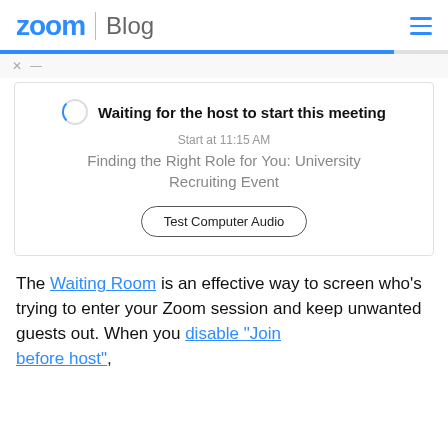zoom | Blog
[Figure (screenshot): Zoom waiting room screen showing 'Waiting for the host to start this meeting', Start at 11:15 AM, meeting title 'Finding the Right Role for You: University Recruiting Event', and a 'Test Computer Audio' button]
The Waiting Room is an effective way to screen who's trying to enter your Zoom session and keep unwanted guests out. When you disable "Join before host", everyone with the Waiting Room will